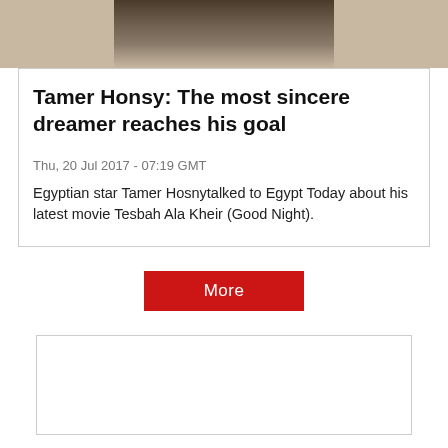[Figure (photo): Partial photo of a person wearing a dark vest and white shirt, cropped at the top of the page]
Tamer Honsy: The most sincere dreamer reaches his goal
Thu, 20 Jul 2017 - 07:19 GMT
Egyptian star Tamer Hosnytalked to Egypt Today about his latest movie Tesbah Ala Kheir (Good Night).
More
[Figure (other): Empty white box with border at bottom of page]